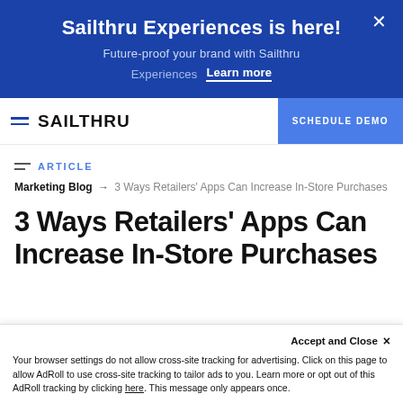Sailthru Experiences is here!
Future-proof your brand with Sailthru Experiences  Learn more
[Figure (logo): SAILTHRU logo in navbar with hamburger menu and Schedule Demo button]
ARTICLE
Marketing Blog → 3 Ways Retailers' Apps Can Increase In-Store Purchases
3 Ways Retailers' Apps Can Increase In-Store Purchases
Accept and Close ×
Your browser settings do not allow cross-site tracking for advertising. Click on this page to allow AdRoll to use cross-site tracking to tailor ads to you. Learn more or opt out of this AdRoll tracking by clicking here. This message only appears once.